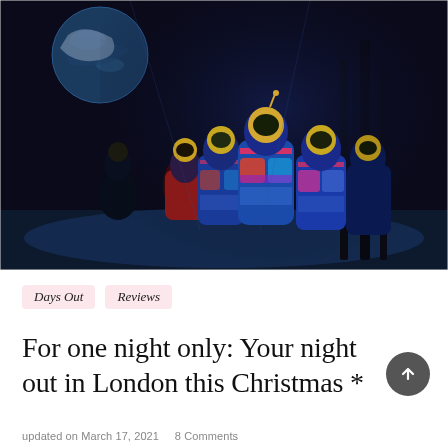[Figure (photo): Stage performance photo showing several performers in colorful, patterned spacesuits/bodysuits with golden helmet visors, standing on a dark stage with a large planet/Earth visible in the background. The costumes are predominantly blue with pink and multicolored geometric patterns.]
Days Out
Reviews
For one night only: Your night out in London this Christmas *
updated on March 17, 2021   8 Comments